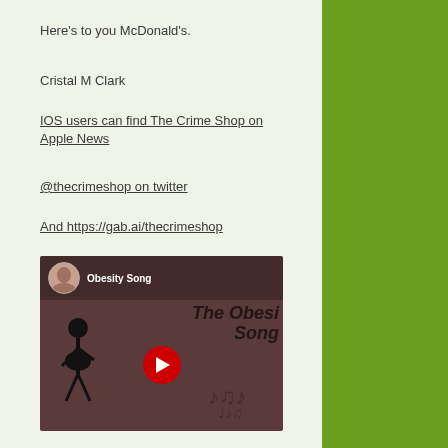Here’s to you McDonald’s.
Cristal M Clark
IOS users can find The Crime Shop on Apple News
@thecrimeshop on twitter
And https://gab.ai/thecrimeshop
[Figure (screenshot): YouTube video thumbnail for 'Obesity Song' showing a stick figure, YouTube play button, and musical notes on a dark reddish-brown background.]